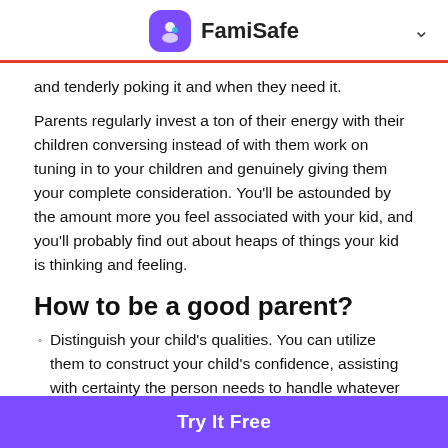FamiSafe
and tenderly poking it and when they need it.
Parents regularly invest a ton of their energy with their children conversing instead of with them work on tuning in to your children and genuinely giving them your complete consideration. You'll be astounded by the amount more you feel associated with your kid, and you'll probably find out about heaps of things your kid is thinking and feeling.
How to be a good parent?
Distinguish your child's qualities. You can utilize them to construct your child's confidence, assisting with certainty the person needs to handle whatever appears to be troublesome. Children will be additionally ready to tune in and address unfavorable practices if their respect is unblemished.
Try It Free